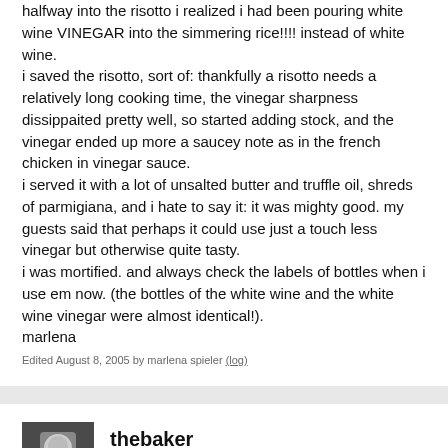halfway into the risotto i realized i had been pouring white wine VINEGAR into the simmering rice!!!! instead of white wine.
i saved the risotto, sort of: thankfully a risotto needs a relatively long cooking time, the vinegar sharpness dissippaited pretty well, so started adding stock, and the vinegar ended up more a saucey note as in the french chicken in vinegar sauce.
i served it with a lot of unsalted butter and truffle oil, shreds of parmigiana, and i hate to say it: it was mighty good. my guests said that perhaps it could use just a touch less vinegar but otherwise quite tasty.
i was mortified. and always check the labels of bottles when i use em now. (the bottles of the white wine and the white wine vinegar were almost identical!).
Marlena
Edited August 8, 2005 by marlena spieler (log)
thebaker
Posted August 9, 2005
Ok long story short.